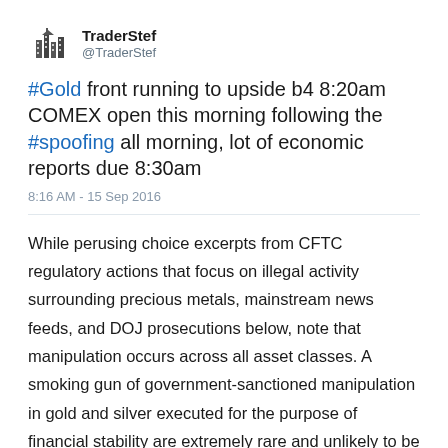[Figure (logo): TraderStef Twitter avatar showing a stylized building/cityscape icon]
TraderStef
@TraderStef
#Gold front running to upside b4 8:20am COMEX open this morning following the #spoofing all morning, lot of economic reports due 8:30am
8:16 AM - 15 Sep 2016
While perusing choice excerpts from CFTC regulatory actions that focus on illegal activity surrounding precious metals, mainstream news feeds, and DOJ prosecutions below, note that manipulation occurs across all asset classes. A smoking gun of government-sanctioned manipulation in gold and silver executed for the purpose of financial stability are extremely rare and unlikely to be identified or litigated successfully.